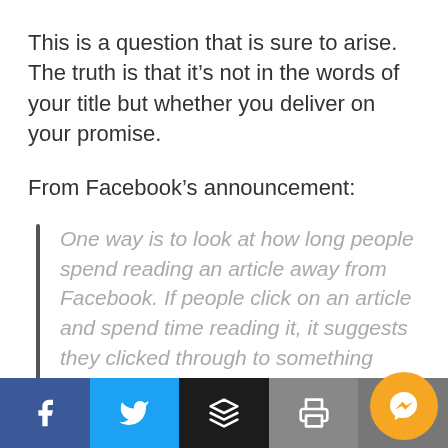This is a question that is sure to arise. The truth is that it's not in the words of your title but whether you deliver on your promise.
From Facebook's announcement:
One way is to look at how long people spend reading an article away from Facebook. If people click on an article and spend time reading it, it suggests they clicked through to something valuable. If they click through to a link and the